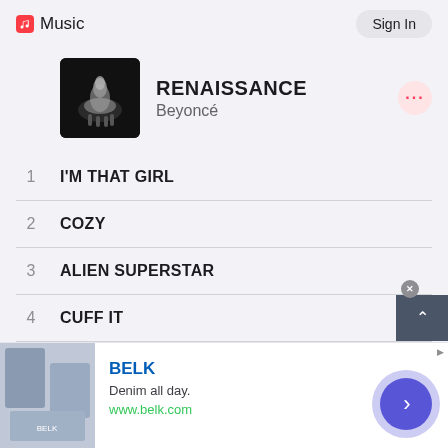Apple Music  Sign In
[Figure (illustration): RENAISSANCE album art by Beyoncé — dark background with figure on a white horse]
RENAISSANCE
Beyoncé
1  I'M THAT GIRL
2  COZY
3  ALIEN SUPERSTAR
4  CUFF IT
5  ENERGY (feat. BEAM)
6  BREAK MY SOUL
[Figure (advertisement): BELK advertisement banner — Denim all day. www.belk.com]
BELK
Denim all day.
www.belk.com